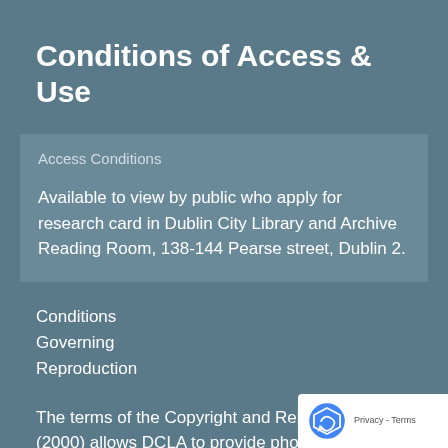Conditions of Access & Use
Access Conditions
Available to view by public who apply for research card in Dublin City Library and Archive Reading Room, 138-144 Pearse street, Dublin 2.
Conditions
Governing
Reproduction
The terms of the Copyright and Related Acts (2000) allows DCLA to provide photocopies of material for research purposes only. Researchers